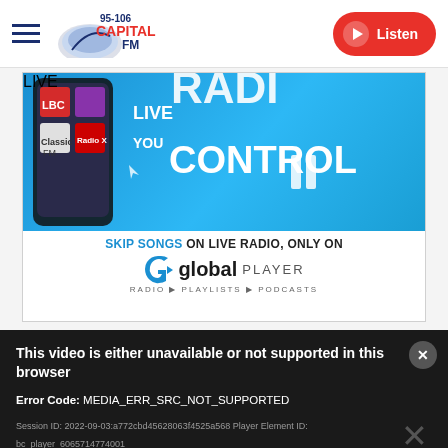[Figure (logo): Capital FM 95-106 logo with hamburger menu and Listen button]
[Figure (illustration): Global Player advertisement banner: Live Radio You Control - Skip Songs on Live Radio, Only on Global Player. Radio, Playlists, Podcasts.]
This video is either unavailable or not supported in this browser
Error Code: MEDIA_ERR_SRC_NOT_SUPPORTED
Session ID: 2022-09-03:a772cbd45628063f4525a568 Player Element ID: bc_player_6065714774001